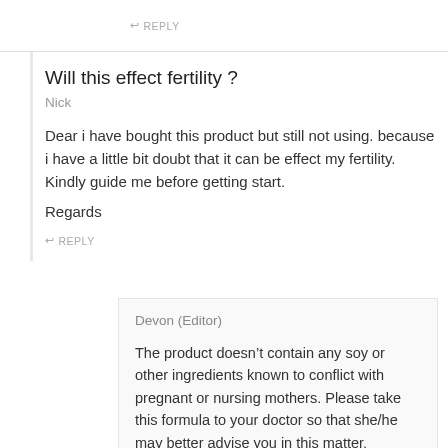REPLY
Will this effect fertility ?
Nick
Dear i have bought this product but still not using. because i have a little bit doubt that it can be effect my fertility. Kindly guide me before getting start.
Regards
REPLY
Devon (Editor)
The product doesn’t contain any soy or other ingredients known to conflict with pregnant or nursing mothers. Please take this formula to your doctor so that she/he may better advise you in this matter.